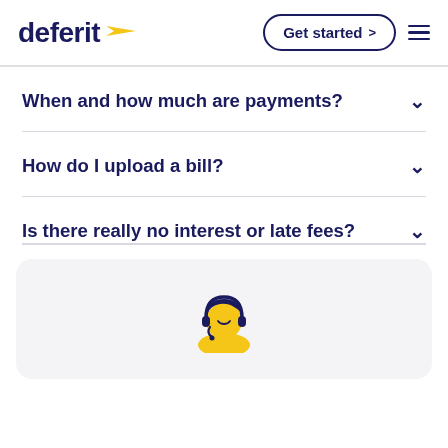deferit | Get started >
When and how much are payments?
How do I upload a bill?
Is there really no interest or late fees?
[Figure (illustration): Customer support agent icon — a person with a headset, illustrated in navy and yellow, inside a light gray rounded card]